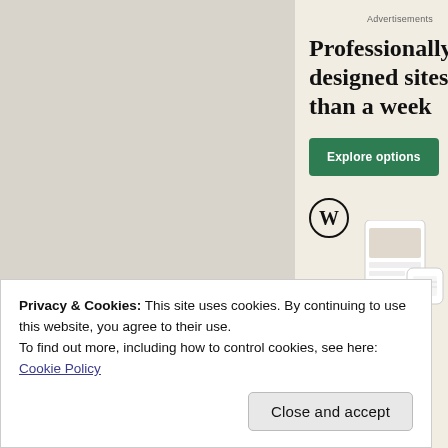[Figure (screenshot): Advertisement panel with cream/beige background showing WordPress.com ad. Header reads 'Advertisements'. Large serif bold text headline: 'Professionally designed sites than a week'. Green button labeled 'Explore options'. WordPress logo (W in circle) and device mockup shown at bottom.]
Privacy & Cookies: This site uses cookies. By continuing to use this website, you agree to their use.
To find out more, including how to control cookies, see here:
Cookie Policy
Close and accept